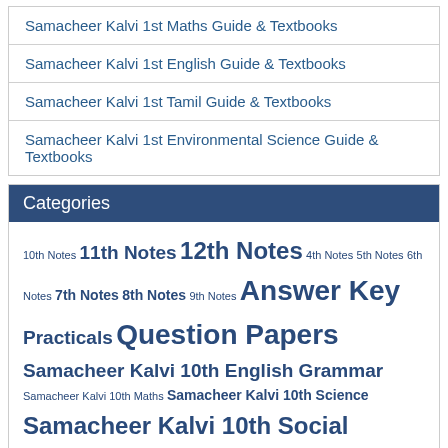Samacheer Kalvi 1st Maths Guide & Textbooks
Samacheer Kalvi 1st English Guide & Textbooks
Samacheer Kalvi 1st Tamil Guide & Textbooks
Samacheer Kalvi 1st Environmental Science Guide & Textbooks
Categories
10th Notes 11th Notes 12th Notes 4th Notes 5th Notes 6th Notes 7th Notes 8th Notes 9th Notes Answer Key Practicals Question Papers Samacheer Kalvi 10th English Grammar Samacheer Kalvi 10th Maths Samacheer Kalvi 10th Science Samacheer Kalvi 10th Social Science Samacheer Kalvi 10th Tamil Samacheer Kalvi 11 Bio Botany Samacheer Kalvi 11 Bio Zoology Samacheer Kalvi 11 Chemistry Samacheer Kalvi 11 English Grammar Samacheer Kalvi 11 Physics Samacheer Kalvi 11th Accountancy Samacheer Kalvi 11th Commerce Samacheer Kalvi 11th Computer Application Samacheer Kalvi 11th Computer Science Samacheer Kalvi 11th Economics Samacheer Kalvi 11th English Samacheer Kalvi 11th History Samacheer Kalvi 11th Tamil Samacheer Kalvi 12th Accountancy Samacheer Kalvi 12th Biology Chapters Samacheer Kalvi 12th Chemistry Chapters